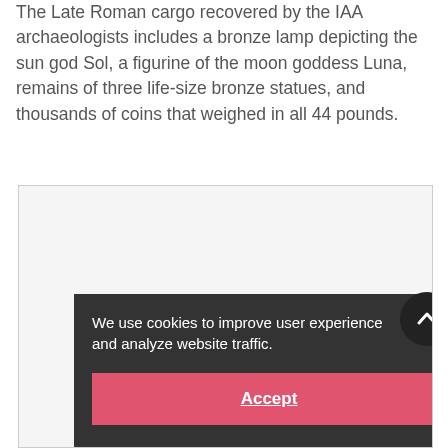The Late Roman cargo recovered by the IAA archaeologists includes a bronze lamp depicting the sun god Sol, a figurine of the moon goddess Luna, remains of three life-size bronze statues, and thousands of coins that weighed in all 44 pounds.
[Figure (screenshot): A webpage screenshot showing a cookie consent overlay on a dark background with text 'We use cookies to improve user experience and analyze website traffic.' and an Accept button in pink/red color. A circular dark up-arrow button appears in the top-right of the overlay.]